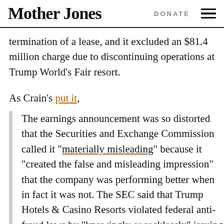Mother Jones | DONATE
termination of a lease, and it excluded an $81.4 million charge due to discontinuing operations at Trump World’s Fair resort.
As Crain’s put it,
The earnings announcement was so distorted that the Securities and Exchange Commission called it “materially misleading” because it “created the false and misleading impression” that the company was performing better when in fact it was not. The SEC said that Trump Hotels & Casino Resorts violated federal anti-fraud laws by “knowingly or recklessly” issuing